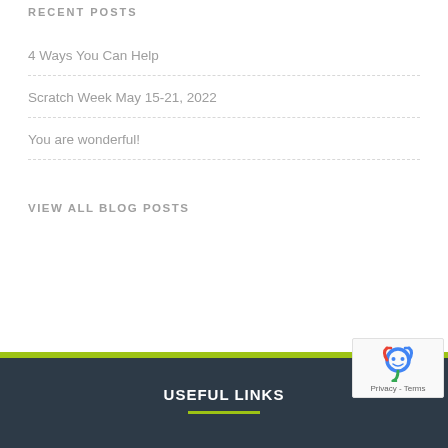RECENT POSTS
4 Ways You Can Help
Scratch Week May 15-21, 2022
You are wonderful!
VIEW ALL BLOG POSTS
USEFUL LINKS
[Figure (logo): reCAPTCHA badge with robot icon and Privacy - Terms text]